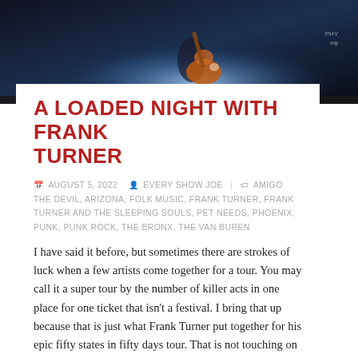[Figure (photo): Concert photo showing a performer with a guitar on stage, backlit with bright stage lighting against a dark blue background]
A LOADED NIGHT WITH FRANK TURNER
AUGUST 5, 2022  EVERY SHOW JOE  AMIGO THE DEVIL, ARIZONA, FOLK MUSIC, FRANK TURNER, FRANK TURNER AND THE SLEEPING SOULS, PET NEEDS, PHOENIX, PUNK, PUNK ROCK, THE BRONX, THE VAN BUREN
I have said it before, but sometimes there are strokes of luck when a few artists come together for a tour. You may call it a super tour by the number of killer acts in one place for one ticket that isn't a festival. I bring that up because that is just what Frank Turner put together for his epic fifty states in fifty days tour. That is not touching on the big endeavor Frank took on to hit all fifty states in his first post 2020 U.S. tour. The